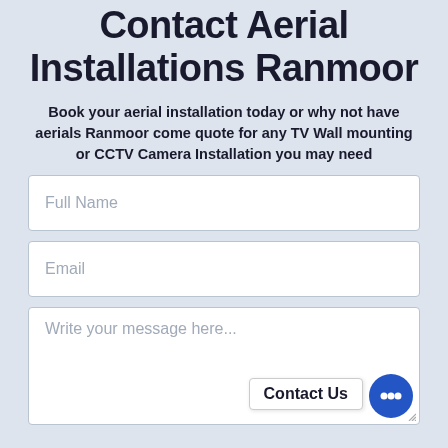Contact Aerial Installations Ranmoor
Book your aerial installation today or why not have aerials Ranmoor come quote for any TV Wall mounting or CCTV Camera Installation you may need
[Figure (screenshot): Web contact form with Full Name field, Email field, and Write your message here... textarea, along with a Contact Us button and a blue chat bubble icon.]